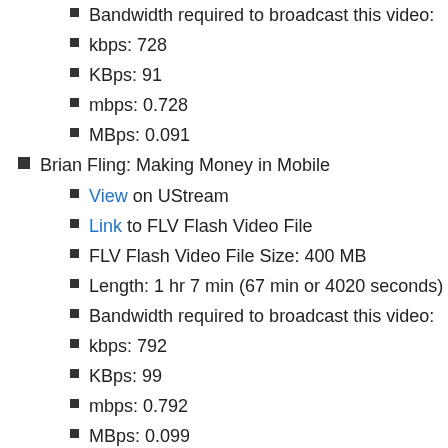Bandwidth required to broadcast this video:
kbps: 728
KBps: 91
mbps: 0.728
MBps: 0.091
Brian Fling: Making Money in Mobile
View on UStream
Link to FLV Flash Video File
FLV Flash Video File Size: 400 MB
Length: 1 hr 7 min (67 min or 4020 seconds)
Bandwidth required to broadcast this video:
kbps: 792
KBps: 99
mbps: 0.792
MBps: 0.099
Lauren Isaacson: the State of the iOS Market
View on UStream
Link to FLV Flash Video File
FLV Flash Video File Size: 303 MB